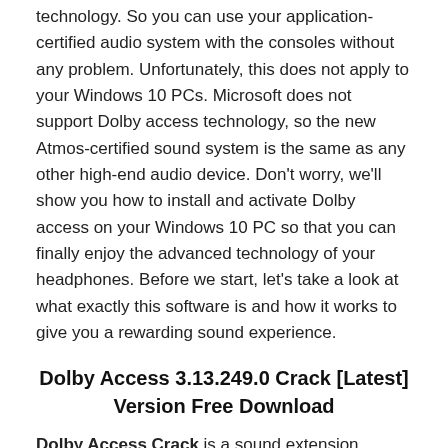technology. So you can use your application-certified audio system with the consoles without any problem. Unfortunately, this does not apply to your Windows 10 PCs. Microsoft does not support Dolby access technology, so the new Atmos-certified sound system is the same as any other high-end audio device. Don't worry, we'll show you how to install and activate Dolby access on your Windows 10 PC so that you can finally enjoy the advanced technology of your headphones. Before we start, let's take a look at what exactly this software is and how it works to give you a rewarding sound experience.
Dolby Access 3.13.249.0 Crack [Latest] Version Free Download
Dolby Access Crack is a sound extension software that helps users improve audio effects when they play games and watch movies. It has a three-dimensional sense of